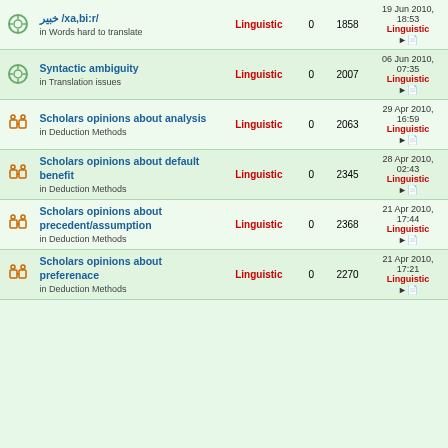|  | Topic | Forum | Replies | Views | Last Post |
| --- | --- | --- | --- | --- | --- |
| [icon] | خبير /xa,bi:r/
in Words hard to translate | Linguistic | 0 | 1858 | 19 Jun 2010, 18:53
Linguistic |
| [icon] | Syntactic ambiguity
in Translation issues | Linguistic | 0 | 2007 | 06 Jun 2010, 07:35
Linguistic |
| [icon] | Scholars opinions about analysis
in Deduction Methods | Linguistic | 0 | 2063 | 29 Apr 2010, 16:59
Linguistic |
| [icon] | Scholars opinions about default benefit
in Deduction Methods | Linguistic | 0 | 2345 | 28 Apr 2010, 02:43
Linguistic |
| [icon] | Scholars opinions about precedent/assumption
in Deduction Methods | Linguistic | 0 | 2368 | 21 Apr 2010, 17:44
Linguistic |
| [icon] | Scholars opinions about preferenace
in Deduction Methods | Linguistic | 0 | 2270 | 21 Apr 2010, 17:21
Linguistic |